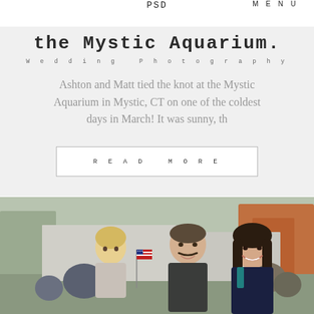PSD   MENU
the Mystic Aquarium.
Wedding Photography
Ashton and Matt tied the knot at the Mystic Aquarium in Mystic, CT on one of the coldest days in March! It was sunny, th
READ MORE
[Figure (photo): A family outdoors — a young blond child holding a small American flag, a man in military-style clothing smiling, and a woman with long dark hair smiling, with trees and other people in the background.]